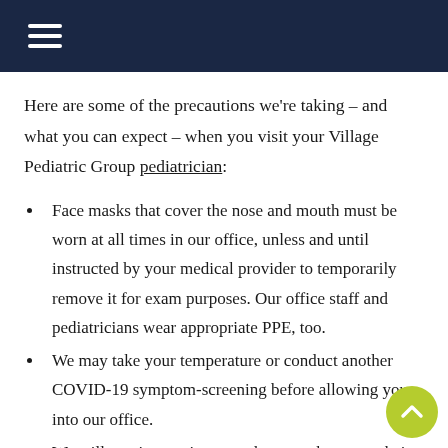Navigation menu header bar
Here are some of the precautions we're taking – and what you can expect – when you visit your Village Pediatric Group pediatrician:
Face masks that cover the nose and mouth must be worn at all times in our office, unless and until instructed by your medical provider to temporarily remove it for exam purposes. Our office staff and pediatricians wear appropriate PPE, too.
We may take your temperature or conduct another COVID-19 symptom-screening before allowing you into our office.
We will continue to increase the space between chairs in common seating areas and reduce the